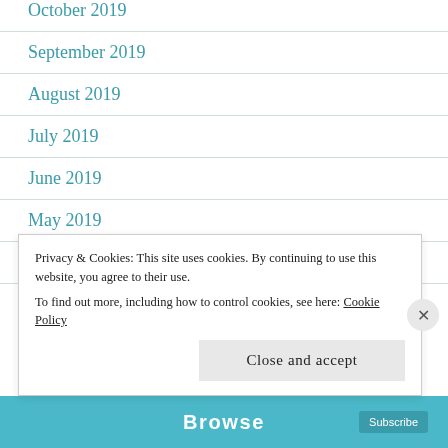October 2019
September 2019
August 2019
July 2019
June 2019
May 2019
April 2019
March 2019
Privacy & Cookies: This site uses cookies. By continuing to use this website, you agree to their use.
To find out more, including how to control cookies, see here: Cookie Policy
Close and accept